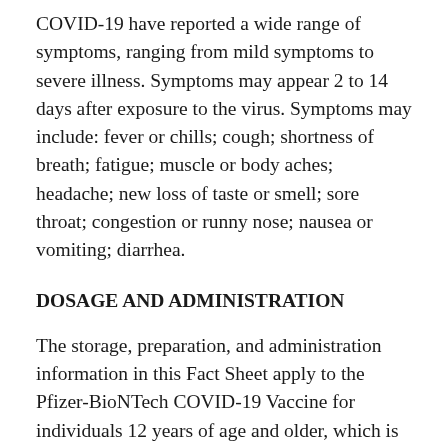COVID-19 have reported a wide range of symptoms, ranging from mild symptoms to severe illness. Symptoms may appear 2 to 14 days after exposure to the virus. Symptoms may include: fever or chills; cough; shortness of breath; fatigue; muscle or body aches; headache; new loss of taste or smell; sore throat; congestion or runny nose; nausea or vomiting; diarrhea.
DOSAGE AND ADMINISTRATION
The storage, preparation, and administration information in this Fact Sheet apply to the Pfizer-BioNTech COVID-19 Vaccine for individuals 12 years of age and older, which is